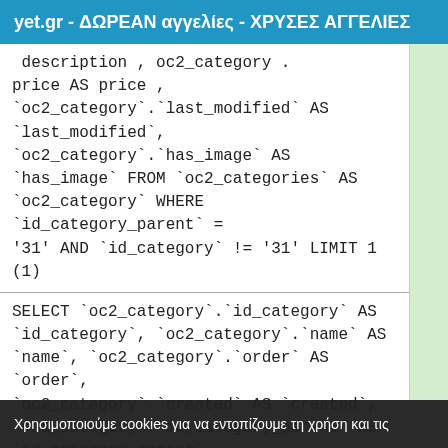yet.gr - ΔΩΡΕΑΝ αγγελίες - ΧΡΥΣΕΣ ΑΓΓΕΛΙΕΣ
description , oc2_category . price AS price , `oc2_category`.`last_modified` AS `last_modified`, `oc2_category`.`has_image` AS `has_image` FROM `oc2_categories` AS `oc2_category` WHERE `id_category_parent` = '31' AND `id_category` != '31' LIMIT 1 (1)
SELECT `oc2_category`.`id_category` AS `id_category`, `oc2_category`.`name` AS `name`, `oc2_category`.`order` AS `order`, `oc2_category`.`created` AS `created`, `oc2_category`.`id_category_parent` AS `id_category_parent`, `oc2_category`.`parent_deep` AS `parent_deep`, `oc2_category`.`seoname` AS `seoname`, `oc2_category`.`description` AS `description`, `oc2_category`.`price` AS `price`
Χρησιμοποιούμε cookies για να εντοπίζουμε τη χρήση και τις